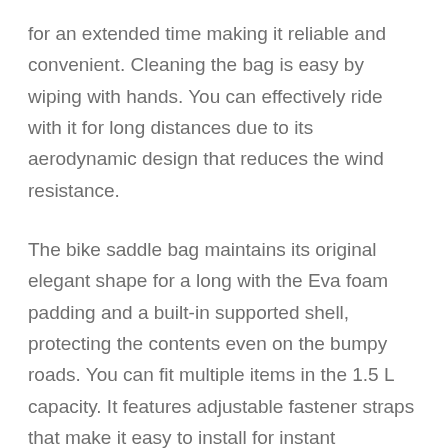for an extended time making it reliable and convenient. Cleaning the bag is easy by wiping with hands. You can effectively ride with it for long distances due to its aerodynamic design that reduces the wind resistance.
The bike saddle bag maintains its original elegant shape for a long with the Eva foam padding and a built-in supported shell, protecting the contents even on the bumpy roads. You can fit multiple items in the 1.5 L capacity. It features adjustable fastener straps that make it easy to install for instant